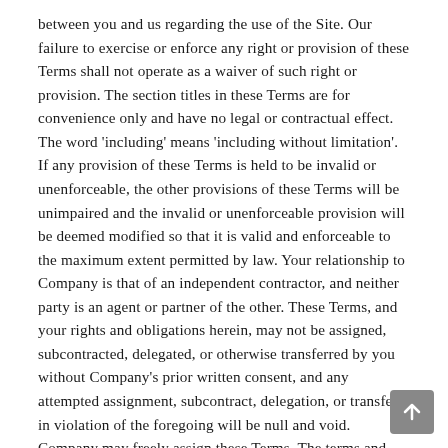between you and us regarding the use of the Site. Our failure to exercise or enforce any right or provision of these Terms shall not operate as a waiver of such right or provision. The section titles in these Terms are for convenience only and have no legal or contractual effect. The word 'including' means 'including without limitation'. If any provision of these Terms is held to be invalid or unenforceable, the other provisions of these Terms will be unimpaired and the invalid or unenforceable provision will be deemed modified so that it is valid and enforceable to the maximum extent permitted by law. Your relationship to Company is that of an independent contractor, and neither party is an agent or partner of the other. These Terms, and your rights and obligations herein, may not be assigned, subcontracted, delegated, or otherwise transferred by you without Company's prior written consent, and any attempted assignment, subcontract, delegation, or transfer in violation of the foregoing will be null and void. Company may freely assign these Terms. The terms and conditions set forth in these Terms shall be binding upon assignees.